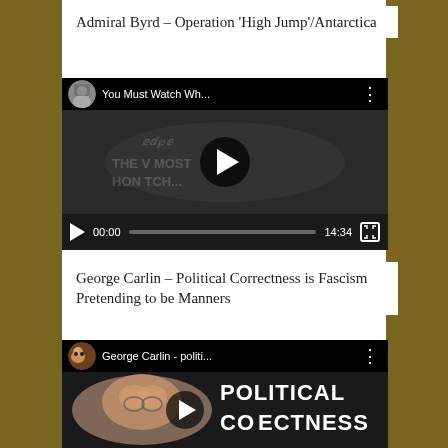Admiral Byrd – Operation ‘High Jump’/Antarctica
[Figure (screenshot): Embedded YouTube video player showing a video titled 'You Must Watch Wh...' with a black and white thumbnail, play button, and controls showing 00:00 / 14:34]
George Carlin – Political Correctness is Fascism Pretending to be Manners
[Figure (screenshot): Embedded YouTube video player showing a video titled 'George Carlin - politi...' with George Carlin's face visible and 'POLITICAL CORRECTNESS' text overlay, play button visible]